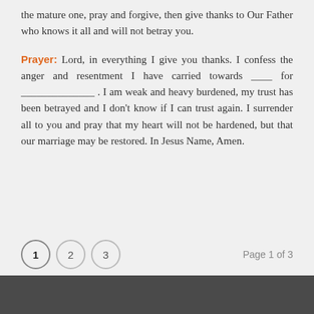the mature one, pray and forgive, then give thanks to Our Father who knows it all and will not betray you.
Prayer: Lord, in everything I give you thanks. I confess the anger and resentment I have carried towards ____ for ______________ . I am weak and heavy burdened, my trust has been betrayed and I don't know if I can trust again. I surrender all to you and pray that my heart will not be hardened, but that our marriage may be restored. In Jesus Name, Amen.
1  2  3   Page 1 of 3